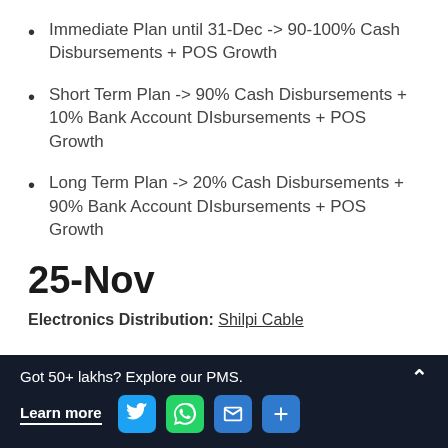Immediate Plan until 31-Dec -> 90-100% Cash Disbursements + POS Growth
Short Term Plan -> 90% Cash Disbursements + 10% Bank Account DIsbursements + POS Growth
Long Term Plan -> 20% Cash Disbursements + 90% Bank Account DIsbursements + POS Growth
25-Nov
Electronics Distribution: Shilpi Cable
Got 50+ lakhs? Explore our PMS. Learn more